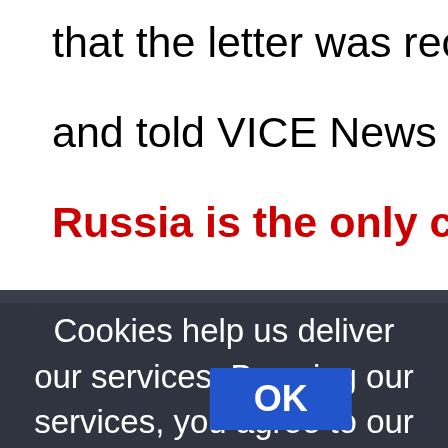that the letter was received last w and told VICE News that — thus Russia is the only country to r
Cookies help us deliver our services. By using our services, you agree to our use of cookies. Learn more
[Figure (screenshot): OK button - blue rectangular button with white bold text]